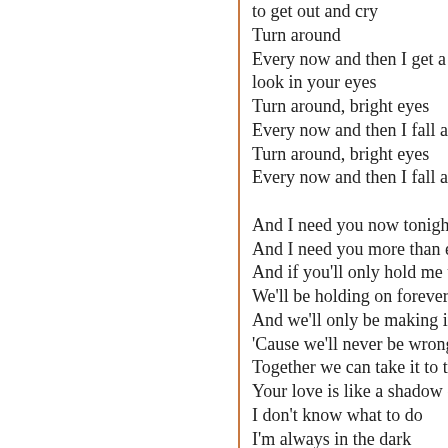to get out and cry
Turn around
Every now and then I get a little look in your eyes
Turn around, bright eyes
Every now and then I fall apart
Turn around, bright eyes
Every now and then I fall apart

And I need you now tonight
And I need you more than ever
And if you'll only hold me tight
We'll be holding on forever
And we'll only be making it right
'Cause we'll never be wrong
Together we can take it to the
Your love is like a shadow on
I don't know what to do
I'm always in the dark
We're living in a powder keg
And giving off sparks
I really need you tonight
Forever's gonna start tonight
Forever's gonna start tonight

Once upon a time I was fallin